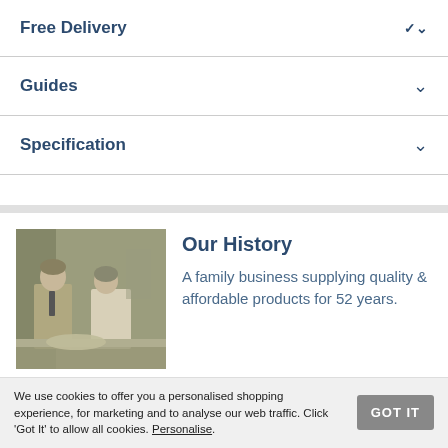Free Delivery
Guides
Specification
[Figure (photo): Vintage black and white photo of a man and woman standing together in what appears to be a shop or workspace]
Our History
A family business supplying quality & affordable products for 52 years.
We use cookies to offer you a personalised shopping experience, for marketing and to analyse our web traffic. Click ‘Got It’ to allow all cookies. Personalise.